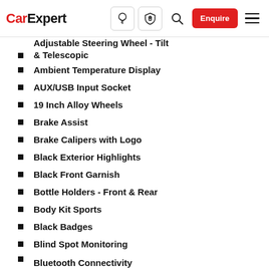CarExpert — navigation bar with logo, icons, Enquire button, hamburger menu
Adjustable Steering Wheel - Tilt & Telescopic
Ambient Temperature Display
AUX/USB Input Socket
19 Inch Alloy Wheels
Brake Assist
Brake Calipers with Logo
Black Exterior Highlights
Black Front Garnish
Bottle Holders - Front & Rear
Body Kit Sports
Black Badges
Blind Spot Monitoring
Bluetooth Connectivity